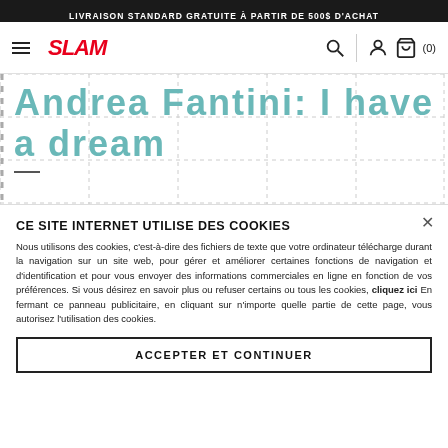LIVRAISON STANDARD GRATUITE À PARTIR DE 500$ D'ACHAT
[Figure (logo): SLAM brand logo in red italic bold text, with hamburger menu icon on left and search, user, cart icons on right]
Andrea Fantini: I have a dream
CE SITE INTERNET UTILISE DES COOKIES
Nous utilisons des cookies, c'est-à-dire des fichiers de texte que votre ordinateur télécharge durant la navigation sur un site web, pour gérer et améliorer certaines fonctions de navigation et d'identification et pour vous envoyer des informations commerciales en ligne en fonction de vos préférences. Si vous désirez en savoir plus ou refuser certains ou tous les cookies, cliquez ici En fermant ce panneau publicitaire, en cliquant sur n'importe quelle partie de cette page, vous autorisez l'utilisation des cookies.
ACCEPTER ET CONTINUER